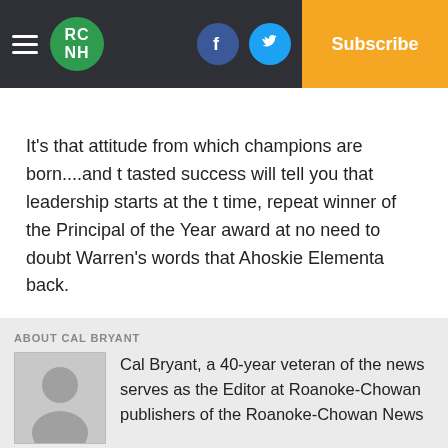RC NH | Log In | Subscribe
It's that attitude from which champions are born....and t tasted success will tell you that leadership starts at the t time, repeat winner of the Principal of the Year award at no need to doubt Warren's words that Ahoskie Elementa back.
ABOUT CAL BRYANT
Cal Bryant, a 40-year veteran of the news serves as the Editor at Roanoke-Chowan publishers of the Roanoke-Chowan News